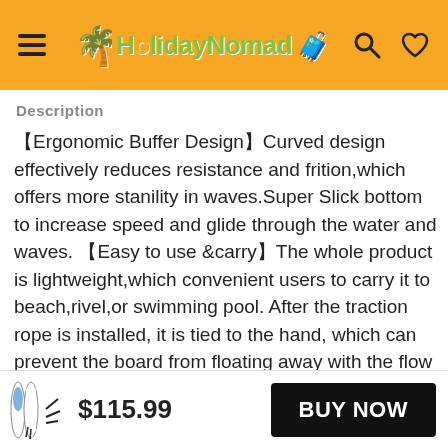HolidayNomad
Description
【Ergonomic Buffer Design】Curved design effectively reduces resistance and frition,which offers more stanility in waves.Super Slick bottom to increase speed and glide through the water and waves. 【Easy to use &carry】The whole product is lightweight,which convenient users to carry it to beach,rivel,or swimming pool. After the traction rope is installed, it is tied to the hand, which can prevent the board from floating away with the flow of water.
$115.99  BUY NOW